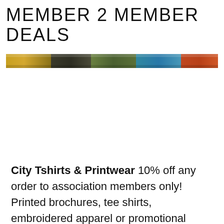MEMBER 2 MEMBER DEALS
[Figure (photo): A narrow horizontal banner strip showing a blurred collage of people and outdoor scenes in yellow, green, teal, and orange tones]
City Tshirts & Printwear 10% off any order to association members only! Printed brochures, tee shirts, embroidered apparel or promotional